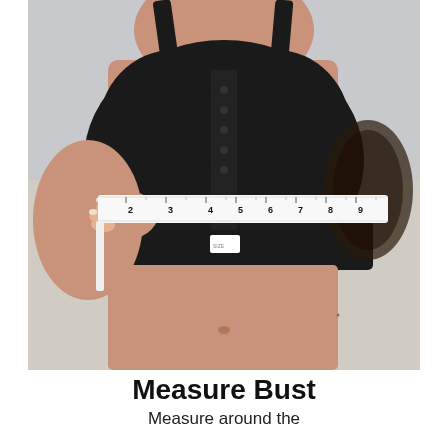[Figure (photo): A woman wearing a black front-closure sports bra, holding a white measuring tape around her bust area. The tape shows numbers 2 through 9 visible across the chest. The background is light gray/white.]
Measure Bust
Measure around the